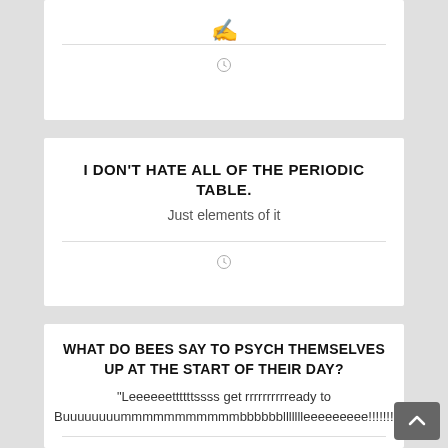[Figure (screenshot): Top of a white card showing emoji icons (camera, person writing) and a clock icon below a divider line.]
I DON'T HATE ALL OF THE PERIODIC TABLE.
Just elements of it
WHAT DO BEES SAY TO PSYCH THEMSELVES UP AT THE START OF THEIR DAY?
"Leeeeeettttttssss get rrrrrrrrrready to Buuuuuuuummmmmmmmmmmbbbbbbllllllleeeeeeeee!!!!!!!!"